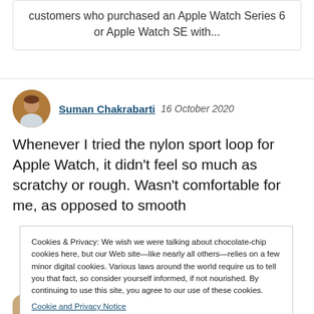customers who purchased an Apple Watch Series 6 or Apple Watch SE with...
Suman Chakrabarti  16 October 2020
Whenever I tried the nylon sport loop for Apple Watch, it didn't feel so much as scratchy or rough. Wasn't comfortable for me, as opposed to smooth
Cookies & Privacy: We wish we were talking about chocolate-chip cookies here, but our Web site—like nearly all others—relies on a few minor digital cookies. Various laws around the world require us to tell you that fact, so consider yourself informed, if not nourished. By continuing to use this site, you agree to our use of these cookies.
Cookie and Privacy Notice
Close and Accept